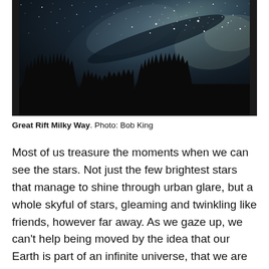[Figure (photo): Night sky photograph showing the Milky Way's Great Rift with stars and galactic band visible across a dark sky, with silhouettes of coniferous trees along the bottom of the frame.]
Great Rift Milky Way. Photo: Bob King
Most of us treasure the moments when we can see the stars. Not just the few brightest stars that manage to shine through urban glare, but a whole skyful of stars, gleaming and twinkling like friends, however far away. As we gaze up, we can't help being moved by the idea that our Earth is part of an infinite universe, that we are anchored in the arc of the Milky Way and